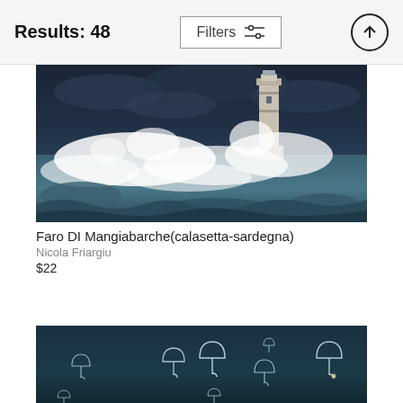Results: 48
Filters
[Figure (photo): Photograph of a lighthouse being battered by large ocean waves during a storm (Faro Di Mangiabarche, calasetta-sardegna)]
Faro DI Mangiabarche(calasetta-sardegna)
Nicola Friargiu
$22
[Figure (photo): Photograph of multiple transparent/clear umbrellas floating against a dark teal background]